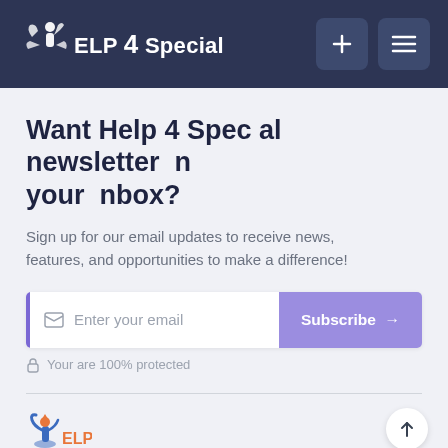Help 4 Special
Want Help 4 Spec al newsletter n your nbox?
Sign up for our email updates to receive news, features, and opportunities to make a difference!
Enter your email  Subscribe →
Your are 100% protected
[Figure (logo): Help 4 Special logo in footer with colorful icon]